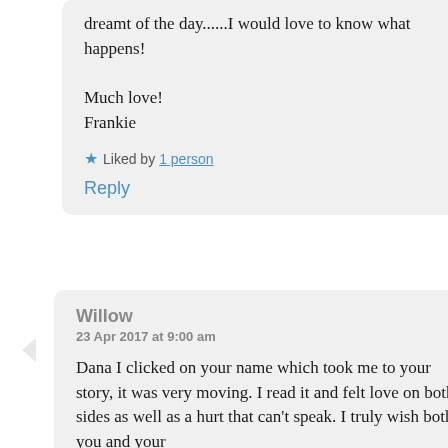dreamt of the day......I would love to know what happens!

Much love!
Frankie
Liked by 1 person
Reply
Willow
23 Apr 2017 at 9:00 am
Dana I clicked on your name which took me to your story, it was very moving. I read it and felt love on both sides as well as a hurt that can't speak. I truly wish both you and your